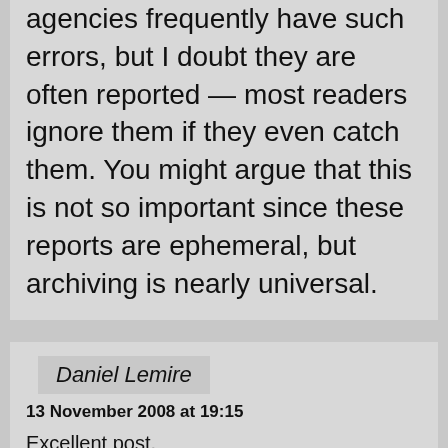agencies frequently have such errors, but I doubt they are often reported — most readers ignore them if they even catch them. You might argue that this is not so important since these reports are ephemeral, but archiving is nearly universal.
Daniel Lemire
13 November 2008 at 19:15
Excellent post.

If I might add something: software can help debug math, and vice versa.